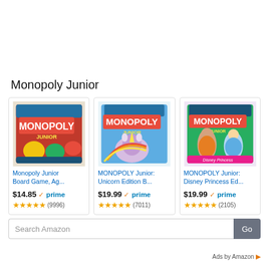Monopoly Junior
[Figure (screenshot): Amazon ad showing three Monopoly Junior board game products with images, prices, Prime badges, and star ratings]
Monopoly Junior Board Game, Ag... $14.85 prime ★★★★★ (9996)
MONOPOLY Junior: Unicorn Edition B... $19.99 prime ★★★★★ (7011)
MONOPOLY Junior: Disney Princess Ed... $19.99 prime ★★★★★ (2105)
Search Amazon
Ads by Amazon